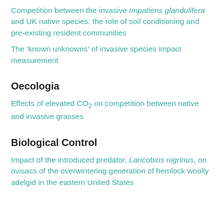Competition between the invasive Impatiens glandulifera and UK native species: the role of soil conditioning and pre-existing resident communities
The 'known unknowns' of invasive species impact measurement
Oecologia
Effects of elevated CO2 on competition between native and invasive grasses
Biological Control
Impact of the introduced predator, Laricobius nigrinus, on ovisacs of the overwintering generation of hemlock woolly adelgid in the eastern United States